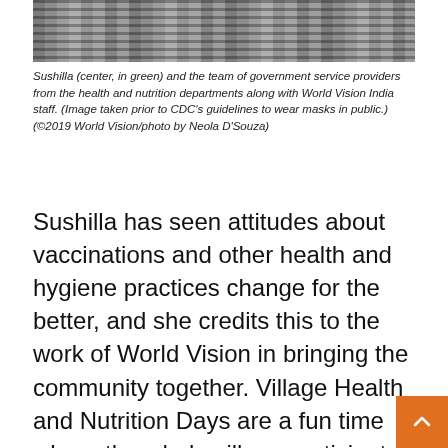[Figure (photo): A photo strip showing a table with checkered cloth and supplies, partially cropped at the top of the page. People are visible in the background.]
Sushilla (center, in green) and the team of government service providers from the health and nutrition departments along with World Vision India staff. (Image taken prior to CDC's guidelines to wear masks in public.) (©2019 World Vision/photo by Neola D'Souza)
Sushilla has seen attitudes about vaccinations and other health and hygiene practices change for the better, and she credits this to the work of World Vision in bringing the community together. Village Health and Nutrition Days are a fun time where the whole village participates in quiz competitions, speeches, street plays, and folk songs.